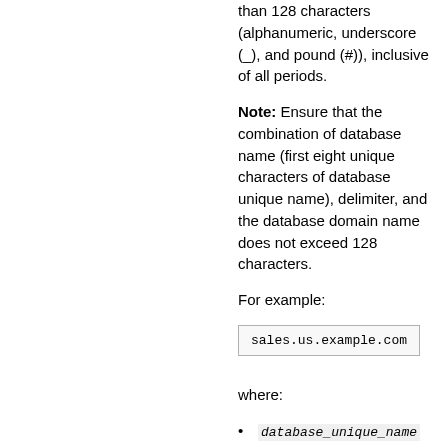than 128 characters (alphanumeric, underscore (_), and pound (#)), inclusive of all periods.
Note: Ensure that the combination of database name (first eight unique characters of database unique name), delimiter, and the database domain name does not exceed 128 characters.
For example:
sales.us.example.com
where:
database_unique_name is sales